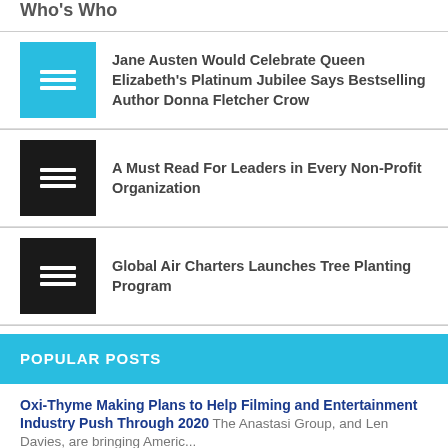Who's Who
Jane Austen Would Celebrate Queen Elizabeth's Platinum Jubilee Says Bestselling Author Donna Fletcher Crow
A Must Read For Leaders in Every Non-Profit Organization
Global Air Charters Launches Tree Planting Program
POPULAR POSTS
Oxi-Thyme Making Plans to Help Filming and Entertainment Industry Push Through 2020 The Anastasi Group, and Len Davies, are bringing Americ...